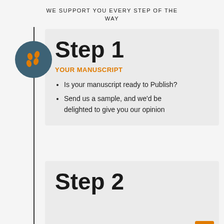WE SUPPORT YOU EVERY STEP OF THE WAY
Step 1
YOUR MANUSCRIPT
Is your manuscript ready to Publish?
Send us a sample, and we'd be delighted to give you our opinion
Step 2